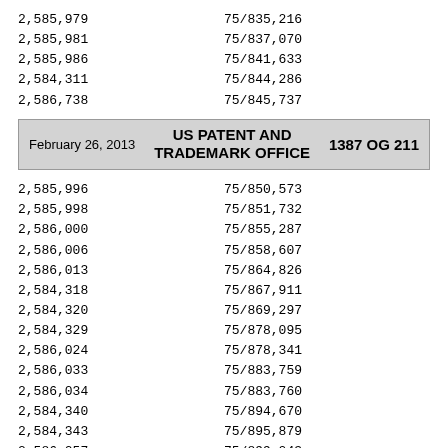| Patent Number | Application Number |
| --- | --- |
| 2,585,979 | 75/835,216 |
| 2,585,981 | 75/837,070 |
| 2,585,986 | 75/841,633 |
| 2,584,311 | 75/844,286 |
| 2,586,738 | 75/845,737 |
February 26, 2013   US PATENT AND TRADEMARK OFFICE   1387 OG 211
| Patent Number | Application Number |
| --- | --- |
| 2,585,996 | 75/850,573 |
| 2,585,998 | 75/851,732 |
| 2,586,000 | 75/855,287 |
| 2,586,006 | 75/858,607 |
| 2,586,013 | 75/864,826 |
| 2,584,318 | 75/867,911 |
| 2,584,320 | 75/869,297 |
| 2,584,329 | 75/878,095 |
| 2,586,024 | 75/878,341 |
| 2,586,033 | 75/883,759 |
| 2,586,034 | 75/883,760 |
| 2,584,340 | 75/894,670 |
| 2,584,343 | 75/895,879 |
| 2,586,057 | 75/899,043 |
| 2,586,062 | 75/903,093 |
| 2,586,063 | 75/903,097 |
| 2,586,065 | 75/903,334 |
| 2,586,068 | 75/907,196 |
| 2,586,073 | 75/909,796 |
| 2,584,352 | 75/914,345 |